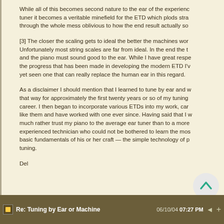While all of this becomes second nature to the ear of the experienced tuner it becomes a veritable minefield for the ETD which plods straight through the whole mess oblivious to how the end result actually so...
[3] The closer the scaling gets to ideal the better the machines work. Unfortunately most string scales are far from ideal. In the end the t... and the piano must sound good to the ear. While I have great respe... the progress that has been made in developing the modern ETD I'v... yet seen one that can really replace the human ear in this regard.
As a disclaimer I should mention that I learned to tune by ear and w... that way for approximately the first twenty years or so of my tuning career. I then began to incorporate various ETDs into my work, ca... like them and have worked with one ever since. Having said that I w... much rather trust my piano to the average ear tuner than to a more... experienced technician who could not be bothered to learn the mos... basic fundamentals of his or her craft — the simple technology of p... tuning.
Del
Re: Tuning by Ear or Machine   06/10/04 07:27 PM